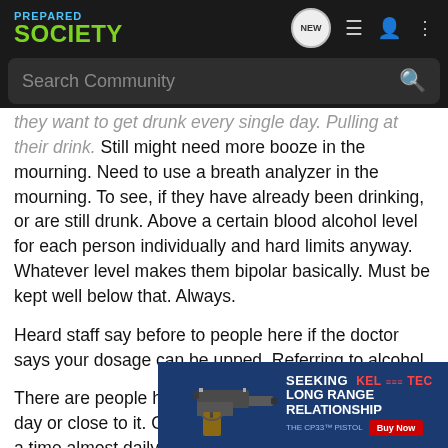PREPARED SOCIETY
They want to get drunk every single day. Pulling at their drink. Still might need more booze in the mourning. Need to use a breath analyzer in the mourning. To see, if they have already been drinking, or are still drunk. Above a certain blood alcohol level for each person individually and hard limits anyway. Whatever level makes them bipolar basically. Must be kept well below that. Always.
Heard staff say before to people here if the doctor says your dosage can be upped. Referring to alcohol.
There are people here who are drunk every single day or close to it. Or are drunk for weeks to months at a time almost daily. Acting up. 6:55pm ... ums. Late at
[Figure (infographic): Kel-Tec advertisement banner showing a pistol with text SEEKING LONG RANGE RELATIONSHIP and KEL-TEC THE CP33 PISTOL with Buy Now button]